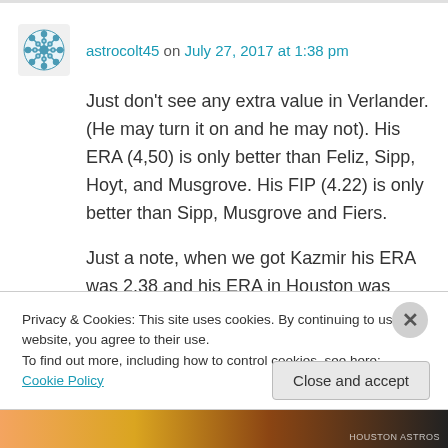astrocolt45 on July 27, 2017 at 1:38 pm
Just don't see any extra value in Verlander. (He may turn it on and he may not). His ERA (4,50) is only better than Feliz, Sipp, Hoyt, and Musgrove. His FIP (4.22) is only better than Sipp, Musgrove and Fiers.
Just a note, when we got Kazmir his ERA was 2.38 and his ERA in Houston was 4.19 (JV is
Privacy & Cookies: This site uses cookies. By continuing to use this website, you agree to their use.
To find out more, including how to control cookies, see here: Cookie Policy